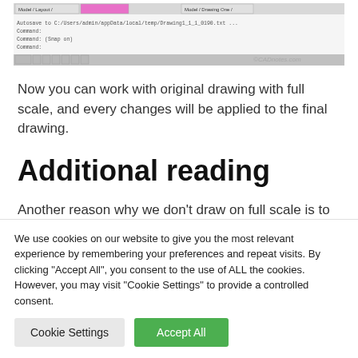[Figure (screenshot): Screenshot of a CAD application interface showing command lines and toolbar, with watermark CADnotes.com]
Now you can work with original drawing with full scale, and every changes will be applied to the final drawing.
Additional reading
Another reason why we don't draw on full scale is to have drawings with different scales on a sheet. You should
We use cookies on our website to give you the most relevant experience by remembering your preferences and repeat visits. By clicking "Accept All", you consent to the use of ALL the cookies. However, you may visit "Cookie Settings" to provide a controlled consent.
Cookie Settings | Accept All